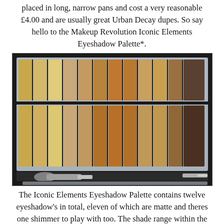placed in long, narrow pans and cost a very reasonable £4.00 and are usually great Urban Decay dupes. So say hello to the Makeup Revolution Iconic Elements Eyeshadow Palette*.
[Figure (photo): A photograph of the Makeup Revolution Iconic Elements Eyeshadow Palette open, showing twelve long narrow eyeshadow pans in shades ranging from light gold/shimmer to warm beige, tan, brown, and darker brown/taupe neutrals, arranged in two rows within a black palette. A makeup brush applicator is visible at the bottom.]
The Iconic Elements Eyeshadow Palette contains twelve eyeshadow's in total, eleven of which are matte and theres one shimmer to play with too. The shade range within the Iconic Elements Palette is gorgeous and right up my street, it's crammed with wearable neutral shades with a range of cooler tones and